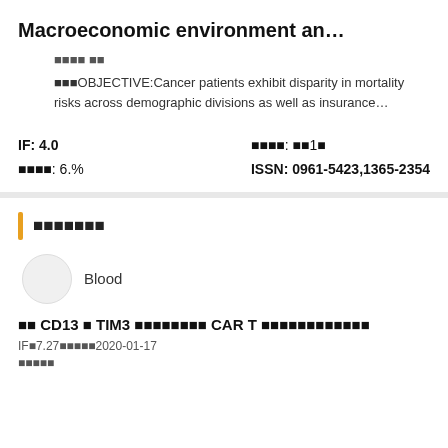Macroeconomic environment an…
■■■■ ■■
■■■OBJECTIVE:Cancer patients exhibit disparity in mortality risks across demographic divisions as well as insurance…
IF: 4.0   ■■■■: ■■1■   ■■■■: 6.%   ISSN: 0961-5423,1365-2354
■■■■■■■
Blood
■■ CD13 ■ TIM3 ■■■■■■■■ CAR T ■■■■■■■■■■■■
IF■7.27■■■■■2020-01-17
■■■■■